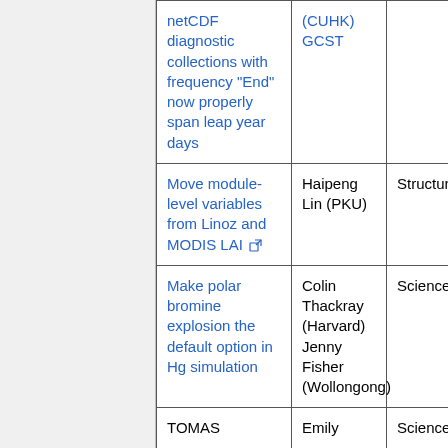| Feature/Fix | Who | Type |
| --- | --- | --- |
| netCDF diagnostic collections with frequency "End" now properly span leap year days | (CUHK)
GCST |  |
| Move module-level variables from Linoz and MODIS LAI [link] | Haipeng Lin (PKU) | Structural |
| Make polar bromine explosion the default option in Hg simulation | Colin Thackray (Harvard)
Jenny Fisher (Wollongong) | Science |
| TOMAS ... | Emily ... | Science |